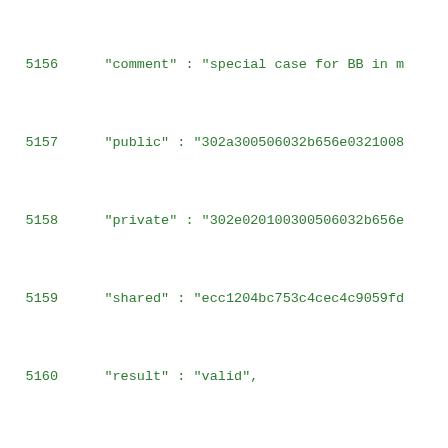Code listing lines 5156-5177 showing JSON test vector data with fields tcId, comment, public, private, shared, result, flags for cryptographic test cases 509-511
5156: "comment" : "special case for BB in m
5157:     "public" : "302a300506032b656e0321008
5158:     "private" : "302e020100300506032b656e
5159:     "shared" : "ecc1204bc753c4cec4c9059fd
5160:     "result" : "valid",
5161:     "flags" : []
5162:   },
5163:   {
5164:     "tcId" : 510,
5165:     "comment" : "special case for BB in m
5166:     "public" : "302a300506032b656e032100c
5167:     "private" : "302e020100300506032b656e
5168:     "shared" : "3740de297ff0122067951e898
5169:     "result" : "valid",
5170:     "flags" : []
5171:   },
5172:   {
5173:     "tcId" : 511,
5174:     "comment" : "private key == -1 (mod o
5175:     "public" : "302a300506032b656e0321006
5176:     "private" : "302e020100300506032b656e
5177:     "shared" : "6c05871352a451dbe182ed5e6